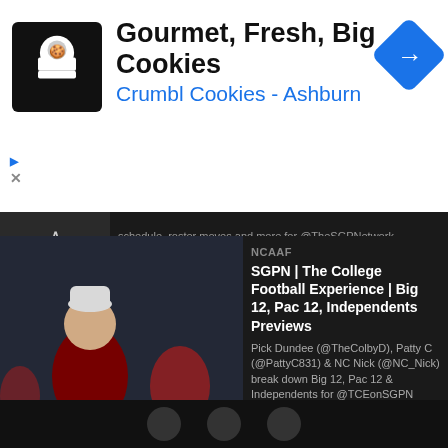[Figure (screenshot): Advertisement banner for Crumbl Cookies - Ashburn with chef logo, navigation icon, title 'Gourmet, Fresh, Big Cookies' and subtitle 'Crumbl Cookies - Ashburn']
schedule, roster moves and more for @TheSGPNetwork
[Figure (photo): Texas Tech college football preview thumbnail showing players in red and white uniforms]
NCAAF
SGPN | The College Football Experience | Texas Tech Season Preview
Did Texas Tech hit a HR with Joey McGuire at HC? @TheColbyD & @PattyC831 break down the Red Raiders in this @TCEonSGPN episode
[Figure (photo): USC football coach in white cap with players in background]
NCAAF
SGPN | The College Football Experience | Big 12, Pac 12, Independents Previews
Pick Dundee (@TheColbyD), Patty C (@PattyC831) & NC Nick (@NC_Nick) break down Big 12, Pac 12 & Independents for @TCEonSGPN